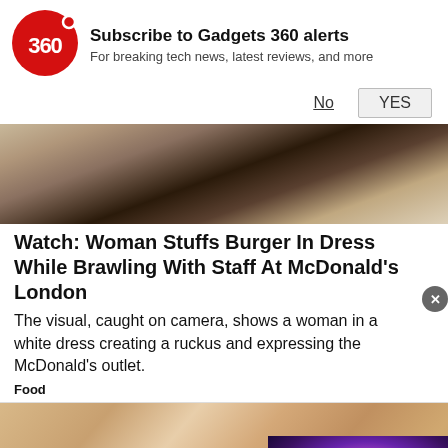[Figure (logo): Gadgets 360 red circular logo with '360' text]
Subscribe to Gadgets 360 alerts
For breaking tech news, latest reviews, and more
No   YES
[Figure (photo): Partial view of McDonald's kitchen/counter area]
Watch: Woman Stuffs Burger In Dress While Brawling With Staff At McDonald's London
The visual, caught on camera, shows a woman in a white dress creating a ruckus and expressing the McDonald's outlet.
Food
[Figure (photo): Close-up of woman's hands with light purple/white nail polish resting on brown fabric]
[Figure (screenshot): Video player popup showing a TV with galaxy/space wallpaper with red play button overlay]